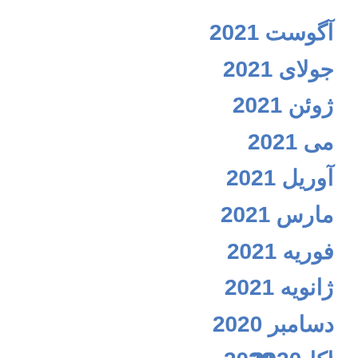آگوست 2021
جولای 2021
ژوئن 2021
می 2021
آوریل 2021
مارس 2021
فوریه 2021
ژانویه 2021
دسامبر 2020
نوامبر 2020
اکتبر 2020